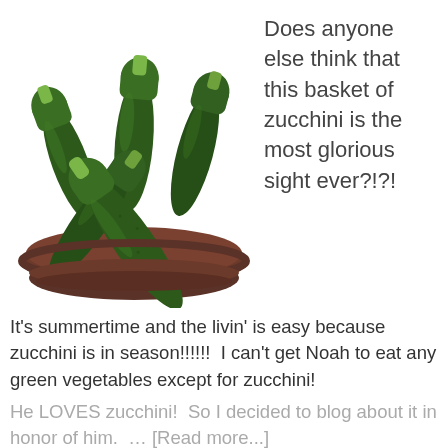[Figure (photo): A brown bowl filled with multiple dark green zucchini arranged on a white background, viewed from above at a slight angle.]
Does anyone else think that this basket of zucchini is the most glorious sight ever?!?!
It's summertime and the livin' is easy because zucchini is in season!!!!!!  I can't get Noah to eat any green vegetables except for zucchini!
He LOVES zucchini!  So I decided to blog about it in honor of him.  … [Read more...]